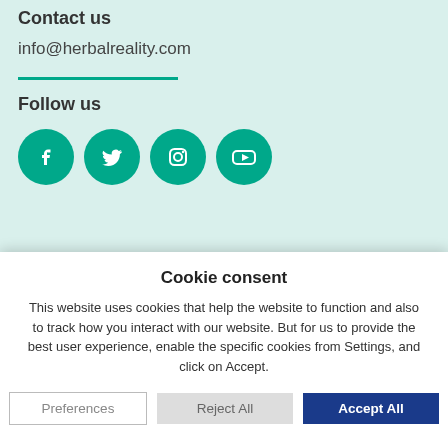Contact us
info@herbalreality.com
Follow us
[Figure (illustration): Four social media icons: Facebook, Twitter, Instagram, YouTube — all teal circular buttons]
© 2023 Herbal Reality. All Rights Reserved. Terms & Conditions
Cookie consent
This website uses cookies that help the website to function and also to track how you interact with our website. But for us to provide the best user experience, enable the specific cookies from Settings, and click on Accept.
Preferences | Reject All | Accept All